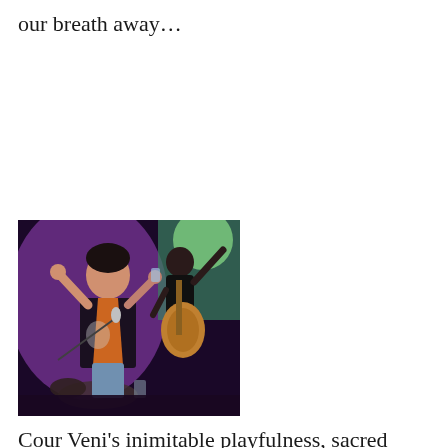our breath away…
[Figure (photo): Two performers on stage: one in the foreground wearing an orange vest and dark shirt, singing into a microphone with arms raised; another in the background playing an acoustic guitar, also with an arm raised. Stage lighting creates a purple/teal ambient glow.]
Cour Veni's inimitable playfulness, sacred